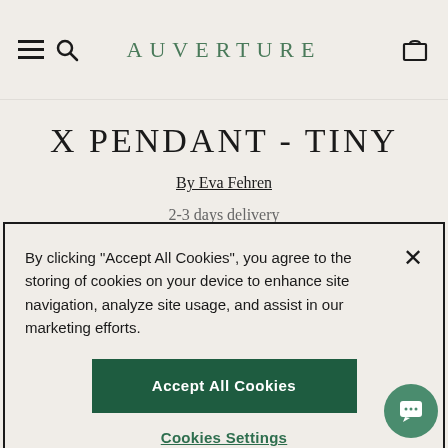AUVERTURE
X PENDANT - TINY
By Eva Fehren
2-3 days delivery
By clicking "Accept All Cookies", you agree to the storing of cookies on your device to enhance site navigation, analyze site usage, and assist in our marketing efforts.
Accept All Cookies
Cookies Settings